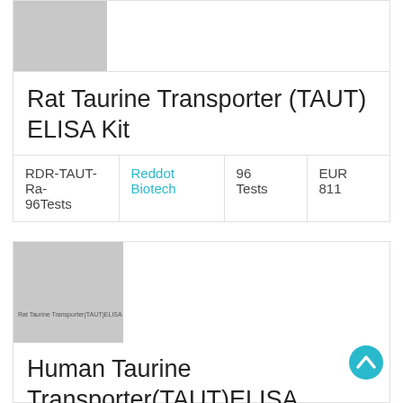[Figure (photo): Gray placeholder image for Rat Taurine Transporter product]
Rat Taurine Transporter (TAUT) ELISA Kit
| Catalog | Supplier | Quantity | Price |
| --- | --- | --- | --- |
| RDR-TAUT-Ra-96Tests | Reddot Biotech | 96 Tests | EUR 811 |
[Figure (photo): Gray placeholder image for Human Taurine Transporter product with text overlay reading: Rat Taurine Transporter(TAUT)ELISA K]
Human Taurine Transporter(TAUT)ELISA